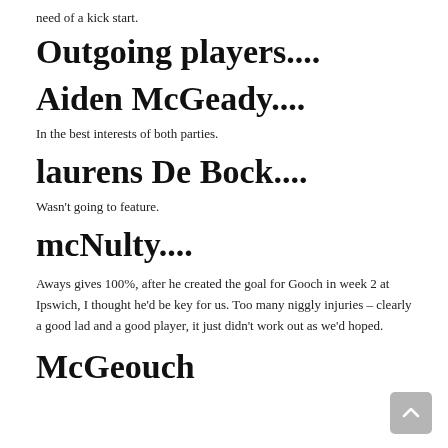need of a kick start.
Outgoing players....
Aiden McGeady....
In the best interests of both parties.
laurens De Bock....
Wasn't going to feature.
mcNulty....
Aways gives 100%, after he created the goal for Gooch in week 2 at Ipswich, I thought he'd be key for us. Too many niggly injuries – clearly a good lad and a good player, it just didn't work out as we'd hoped.
McGeouch